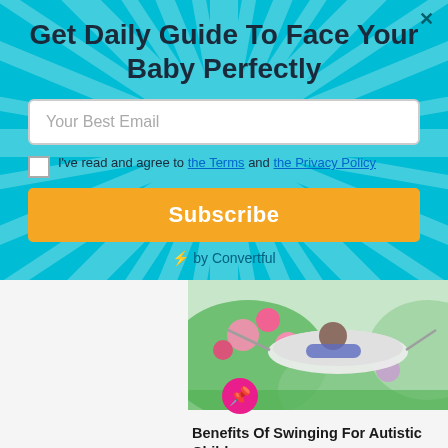Get Daily Guide To Face Your Baby Perfectly
Your Best Email
I've read and agree to the Terms and the Privacy Policy
Subscribe
⚡ by Convertful
[Figure (photo): Child lying in a hammock surrounded by pink flowers and green garden]
Benefits Of Swinging For Autistic Children